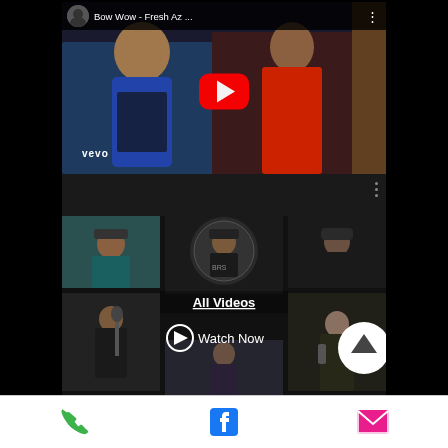[Figure (screenshot): YouTube video thumbnail showing 'Bow Wow - Fresh Az ...' with Vevo branding and red play button]
Bow Wow - Fresh Az ...
[Figure (screenshot): Grid of video thumbnails with All Videos overlay text and Watch Now button, plus up-arrow button]
All Videos
Watch Now
Phone | Facebook | Email navigation bar icons